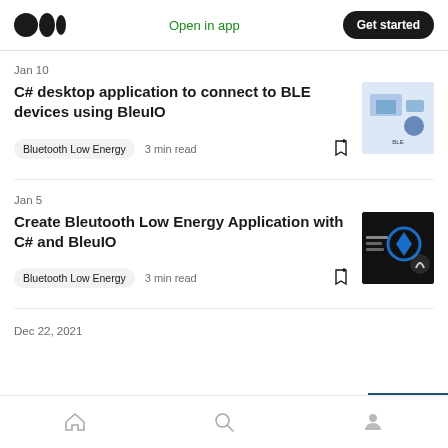Medium logo | Open in app | Get started
Jan 10
C# desktop application to connect to BLE devices using BleuIO
Bluetooth Low Energy  3 min read
Jan 5
Create Bleutooth Low Energy Application with C# and BleuIO
Bluetooth Low Energy  3 min read
Dec 22, 2021
Home | Search | Profile